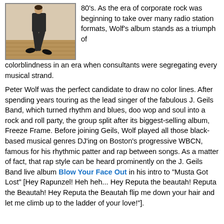[Figure (photo): Person dancing or in motion, legs visible, wearing dark pants and boots, on a wooden floor background]
80's. As the era of corporate rock was beginning to take over many radio station formats, Wolf's album stands as a triumph of colorblindness in an era when consultants were segregating every musical strand.
Peter Wolf was the perfect candidate to draw no color lines. After spending years touring as the lead singer of the fabulous J. Geils Band, which turned rhythm and blues, doo wop and soul into a rock and roll party, the group split after its biggest-selling album, Freeze Frame. Before joining Geils, Wolf played all those black-based musical genres DJ'ing on Boston's progressive WBCN, famous for his rhythmic patter and rap between songs. As a matter of fact, that rap style can be heard prominently on the J. Geils Band live album Blow Your Face Out in his intro to "Musta Got Lost" [Hey Rapunzel! Heh heh... Hey Reputa the beautah! Reputa the Beautah! Hey Reputa the Beautah flip me down your hair and let me climb up to the ladder of your love!"].